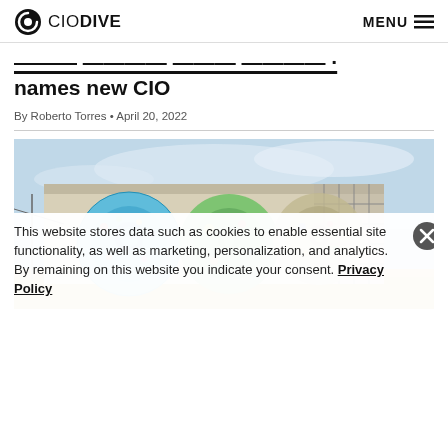CIO DIVE | MENU
names new CIO
By Roberto Torres • April 20, 2022
[Figure (photo): A large building with colorful circular murals resembling the Google logo, surrounded by open fields under a partly cloudy sky.]
This website stores data such as cookies to enable essential site functionality, as well as marketing, personalization, and analytics. By remaining on this website you indicate your consent. Privacy Policy